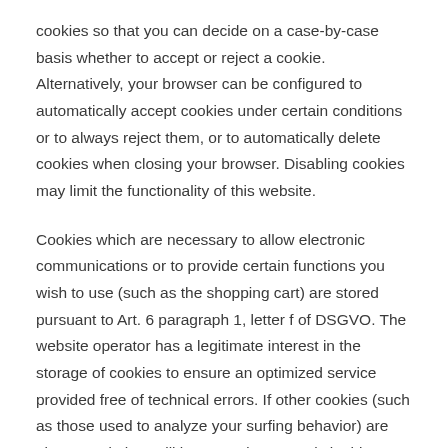cookies so that you can decide on a case-by-case basis whether to accept or reject a cookie. Alternatively, your browser can be configured to automatically accept cookies under certain conditions or to always reject them, or to automatically delete cookies when closing your browser. Disabling cookies may limit the functionality of this website.
Cookies which are necessary to allow electronic communications or to provide certain functions you wish to use (such as the shopping cart) are stored pursuant to Art. 6 paragraph 1, letter f of DSGVO. The website operator has a legitimate interest in the storage of cookies to ensure an optimized service provided free of technical errors. If other cookies (such as those used to analyze your surfing behavior) are also stored, they will be treated separately in this privacy policy.
Server log files